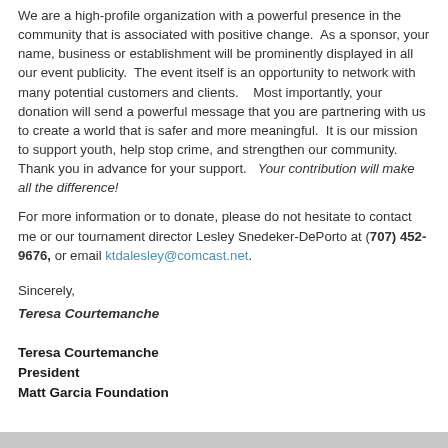We are a high-profile organization with a powerful presence in the community that is associated with positive change.  As a sponsor, your name, business or establishment will be prominently displayed in all our event publicity.  The event itself is an opportunity to network with many potential customers and clients.   Most importantly, your donation will send a powerful message that you are partnering with us to create a world that is safer and more meaningful.  It is our mission to support youth, help stop crime, and strengthen our community. Thank you in advance for your support.   Your contribution will make all the difference!
For more information or to donate, please do not hesitate to contact me or our tournament director Lesley Snedeker-DePorto at (707) 452-9676, or email ktdalesley@comcast.net.
Sincerely,
Teresa Courtemanche
Teresa Courtemanche
President
Matt Garcia Foundation